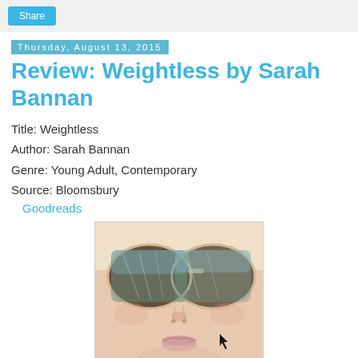Share
Thursday, August 13, 2015
Review: Weightless by Sarah Bannan
Title: Weightless
Author: Sarah Bannan
Genre: Young Adult, Contemporary
Source: Bloomsbury
Goodreads
[Figure (photo): Close-up book cover photo showing a person's face with large aviator sunglasses reflecting trees/sky, soft peach tones, for 'Weightless' by Sarah Bannan]